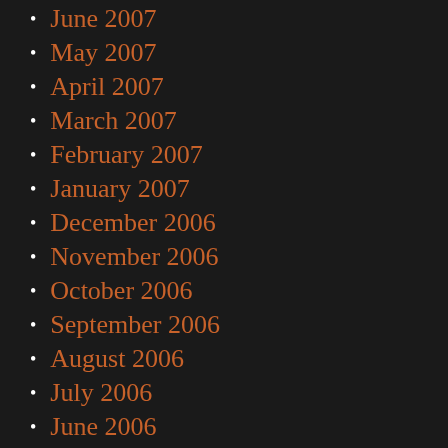June 2007
May 2007
April 2007
March 2007
February 2007
January 2007
December 2006
November 2006
October 2006
September 2006
August 2006
July 2006
June 2006
May 2006
April 2006
March 2006
February 2006